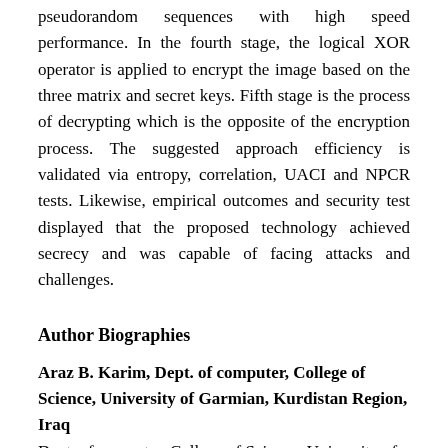pseudorandom sequences with high speed performance. In the fourth stage, the logical XOR operator is applied to encrypt the image based on the three matrix and secret keys. Fifth stage is the process of decrypting which is the opposite of the encryption process. The suggested approach efficiency is validated via entropy, correlation, UACI and NPCR tests. Likewise, empirical outcomes and security test displayed that the proposed technology achieved secrecy and was capable of facing attacks and challenges.
Author Biographies
Araz B. Karim, Dept. of computer, College of Science, University of Garmian, Kurdistan Region, Iraq
Dept. of computer, College of Science, University of Garmian, Kurdistan Region, Iraq
(Araz.kareem@garmian.edu.krd)
Peshraw S. Abdalqader, Dept. of computer, College of